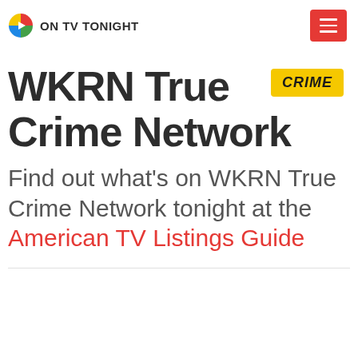ON TV TONIGHT
WKRN True Crime Network
[Figure (logo): CRIME badge logo - yellow background with italic bold CRIME text]
Find out what's on WKRN True Crime Network tonight at the American TV Listings Guide